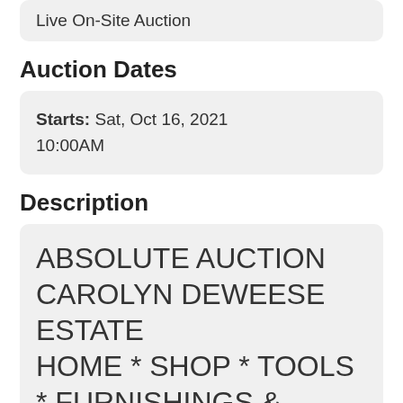Live On-Site Auction
Auction Dates
Starts: Sat, Oct 16, 2021 10:00AM
Description
ABSOLUTE AUCTION CAROLYN DEWEESE ESTATE HOME * SHOP * TOOLS * FURNISHINGS & MORE!